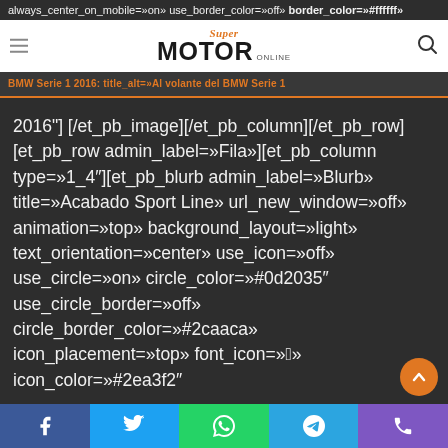always_center_on_mobile=»on» use_border_color=»off» border_color=»#ffffff» border_style=»solid» title_alt=»Al volante del BMW Serie 1 2016» [/et_pb_image][/et_pb_column][/et_pb_row][et_pb_row admin_label=»Fila»][et_pb_column type=»1_4″][et_pb_blurb admin_label=»Blurb» title=»Acabado Sport Line» url_new_window=»off» animation=»top» background_layout=»light» text_orientation=»center» use_icon=»off» use_circle=»on» circle_color=»#0d2035″ use_circle_border=»off» circle_border_color=»#2caaca» icon_placement=»top» font_icon=»» icon_color=»#2ea3f2″ image=»http://www.supermotoronline.com/wp-content/uploads/2016/12/sportlineBMW.png» use_icon_font_size=»off» use_border_color=»off» border_color=»#ffffff» border_style=»solid» header_font=»|on|||» header_font_size=»24″]
Facebook | Twitter | WhatsApp | Telegram | Phone